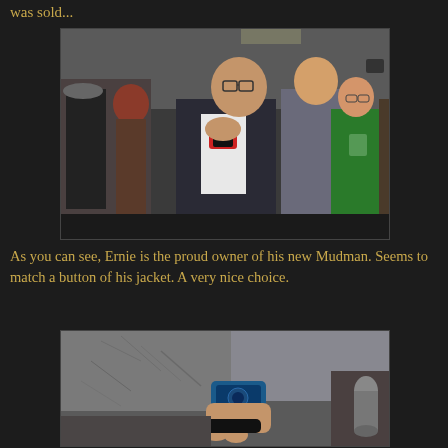was sold...
[Figure (photo): A bald man wearing glasses at a social event, showing off a red watch on his wrist. He is wearing a dark jacket with a white shirt. Several other people are visible in the background, including a woman in a green top.]
As you can see, Ernie is the proud owner of his new Mudman. Seems to match a button of his jacket. A very nice choice.
[Figure (photo): Close-up photo of a person's wrist wearing a blue/teal watch, with gray clothing visible. The person appears to be at a desk or counter.]